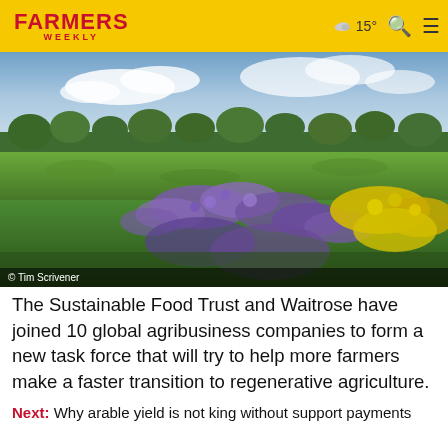FARMERS WEEKLY | 15° | Search | Menu
[Figure (photo): A meadow field with wildflowers including purple phacelia and yellow flowers in the foreground, green field and treeline in the background under a partly cloudy sky.]
© Tim Scrivener
The Sustainable Food Trust and Waitrose have joined 10 global agribusiness companies to form a new task force that will try to help more farmers make a faster transition to regenerative agriculture.
Next: Why arable yield is not king without support payments